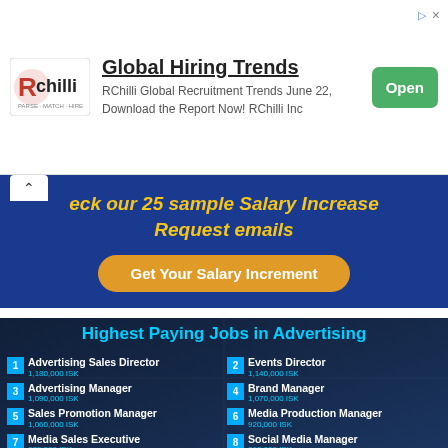[Figure (infographic): RChilli ad banner with logo, 'Global Hiring Trends' title, description text, and green Open button]
eck our 25 sample Salary Increase Request emails
Get Your Salary Increment
[Figure (infographic): Highest Paying Jobs in Advertising infographic listing 10 jobs with salaries in ISK: 1. Advertising Sales Director 1,180,000 ISK, 2. Events Director 1,140,000 ISK, 3. Advertising Manager 1,090,000 ISK, 4. Brand Manager 1,070,000 ISK, 5. Sales Promotion Manager 1,060,000 ISK, 6. Media Production Manager 920,000 ISK, 7. Media Sales Executive 879,000 ISK, 8. Social Media Manager 869,000 ISK, 9. Digital Media Strategist, 10. Media Account Manager]